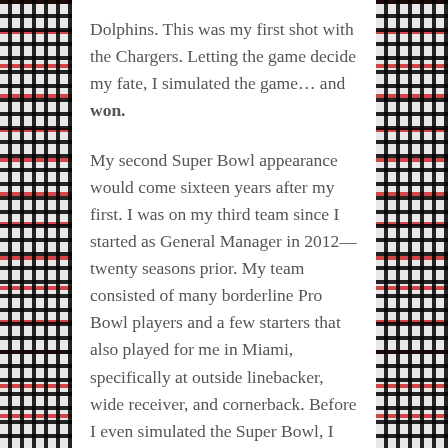Dolphins. This was my first shot with the Chargers. Letting the game decide my fate, I simulated the game… and won.
My second Super Bowl appearance would come sixteen years after my first. I was on my third team since I started as General Manager in 2012—twenty seasons prior. My team consisted of many borderline Pro Bowl players and a few starters that also played for me in Miami, specifically at outside linebacker, wide receiver, and cornerback. Before I even simulated the Super Bowl, I looked at how far these players had come. How many years they